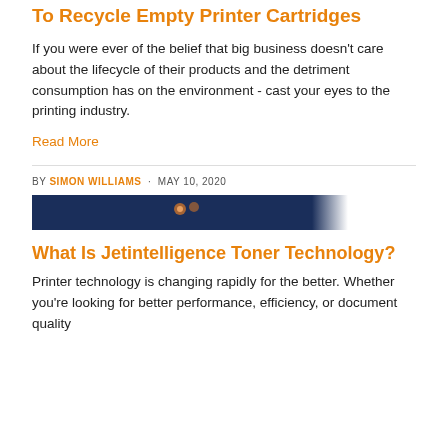To Recycle Empty Printer Cartridges
If you were ever of the belief that big business doesn't care about the lifecycle of their products and the detriment consumption has on the environment - cast your eyes to the printing industry.
Read More
BY SIMON WILLIAMS · MAY 10, 2020
[Figure (photo): Dark navy blue banner image, partially visible, appears to be a printer or technology related photograph with a diagonal fade on the right side.]
What Is Jetintelligence Toner Technology?
Printer technology is changing rapidly for the better. Whether you're looking for better performance, efficiency, or document quality...